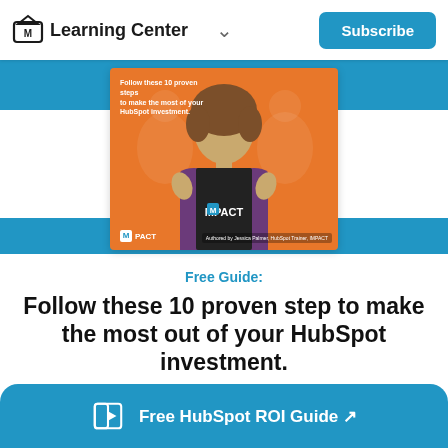Learning Center
[Figure (photo): A woman with curly hair wearing a purple jacket and MPACT branded t-shirt, on an orange background. Text on image reads: Follow these 10 proven steps to make the most of your HubSpot investment. Authored by Jessica Palmer, HubSpot Trainer, IMPACT.]
Free Guide:
Follow these 10 proven step to make the most out of your HubSpot investment.
Free HubSpot ROI Guide ↗